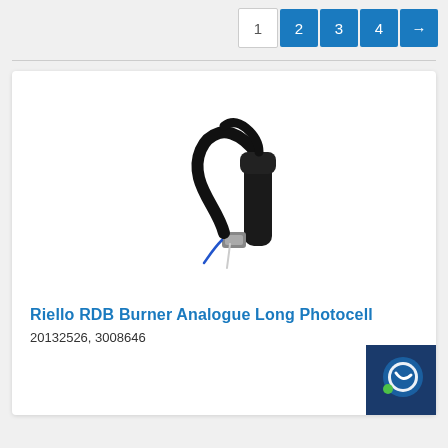1 2 3 4 →
[Figure (photo): Product photo of Riello RDB Burner Analogue Long Photocell — a black cable with cylindrical sensor body and connector plug]
Riello RDB Burner Analogue Long Photocell
20132526, 3008646